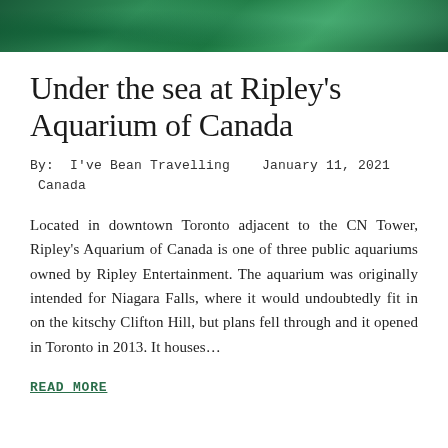[Figure (photo): Underwater aquarium scene with green-tinted water and marine life visible in the background, used as a hero banner image.]
Under the sea at Ripley's Aquarium of Canada
By:  I've Bean Travelling    January 11, 2021
 Canada
Located in downtown Toronto adjacent to the CN Tower, Ripley's Aquarium of Canada is one of three public aquariums owned by Ripley Entertainment. The aquarium was originally intended for Niagara Falls, where it would undoubtedly fit in on the kitschy Clifton Hill, but plans fell through and it opened in Toronto in 2013. It houses…
READ MORE